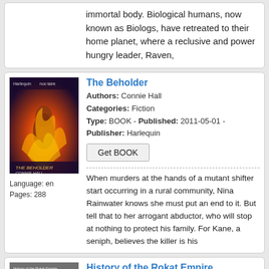body. Biological humans, now known as Biologs, have retreated to their home planet, where a reclusive and power hungry leader, Raven,
[Figure (illustration): Book cover for The Beholder showing a figure surrounded by fire/red tones]
Language: en
Pages: 288
The Beholder
Authors: Connie Hall
Categories: Fiction
Type: BOOK - Published: 2011-05-01 - Publisher: Harlequin
Get BOOK
When murders at the hands of a mutant shifter start occurring in a rural community, Nina Rainwater knows she must put an end to it. But tell that to her arrogant abductor, who will stop at nothing to protect his family. For Kane, a seniph, believes the killer is his
[Figure (illustration): Book cover for History of the Rokat Empire showing a dark cover with a blue planet]
History of the Rokat Empire
Authors: Jacob Sockness
Categories: Fiction
Type: BOOK - Published: - Publisher: Lulu.com
Get BOOK